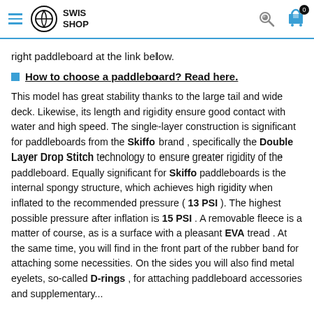SWIS SHOP
right paddleboard at the link below.
How to choose a paddleboard? Read here.
This model has great stability thanks to the large tail and wide deck. Likewise, its length and rigidity ensure good contact with water and high speed. The single-layer construction is significant for paddleboards from the Skiffo brand , specifically the Double Layer Drop Stitch technology to ensure greater rigidity of the paddleboard. Equally significant for Skiffo paddleboards is the internal spongy structure, which achieves high rigidity when inflated to the recommended pressure ( 13 PSI ). The highest possible pressure after inflation is 15 PSI . A removable fleece is a matter of course, as is a surface with a pleasant EVA tread . At the same time, you will find in the front part of the rubber band for attaching some necessities. On the sides you will also find metal eyelets, so-called D-rings , for attaching paddleboard accessories and supplementary...